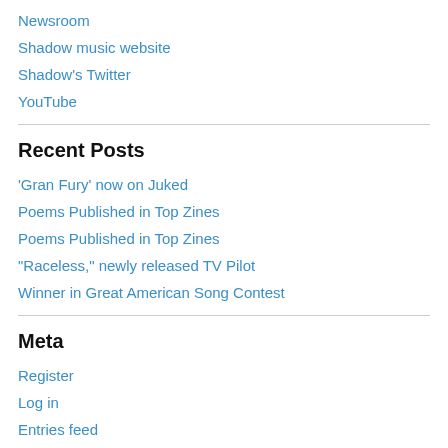Newsroom
Shadow music website
Shadow's Twitter
YouTube
Recent Posts
'Gran Fury' now on Juked
Poems Published in Top Zines
Poems Published in Top Zines
“Raceless,” newly released TV Pilot
Winner in Great American Song Contest
Meta
Register
Log in
Entries feed